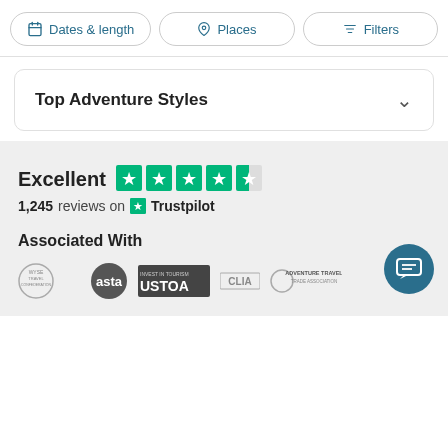Dates & length | Places | Filters
Top Adventure Styles
Excellent  1,245 reviews on Trustpilot
Associated With
[Figure (logo): Association logos: WYSE Travel Confederation, ASTA, USTOA, CLIA, Adventure Travel Trade Association]